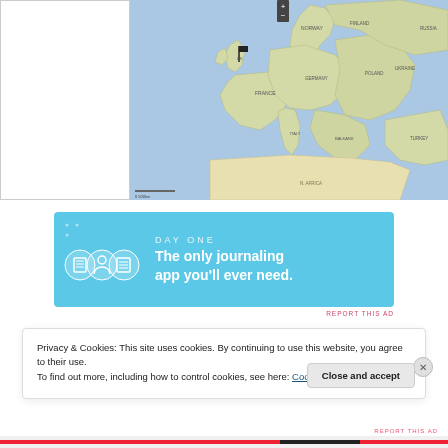[Figure (map): A map of Europe and surrounding regions showing country borders, names, and geographic features. A pin/flag marker is visible on what appears to be the UK/England area. The left portion shows a white panel, the right portion shows the map with blue ocean areas and land masses.]
[Figure (other): DAY ONE app advertisement banner. Light blue background with three circular icons (book/journal, person, notebook) and text 'DAY ONE - The only journaling app you'll ever need.']
REPORT THIS AD
Privacy & Cookies: This site uses cookies. By continuing to use this website, you agree to their use.
To find out more, including how to control cookies, see here: Cookie Policy
Close and accept